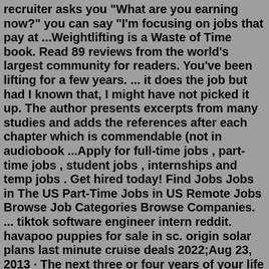recruiter asks you  "What are you earning now?" you can say "I'm focusing on jobs that pay at ...Weightlifting is a Waste of Time book. Read 89 reviews from the world's largest community for readers. You've been lifting for a few years. ... it does the job but had I known that, I might have not picked it up. The author presents excerpts from many studies and adds the references after each chapter which is commendable (not in audiobook ...Apply for full-time jobs , part-time jobs , student jobs , internships and temp jobs . Get hired today! Find Jobs Jobs in The US Part-Time Jobs in US Remote Jobs Browse Job Categories Browse Companies. ... tiktok software engineer intern reddit. havapoo puppies for sale in sc. origin solar plans last minute cruise deals 2022;Aug 23, 2013 · The next three or four years of your life may be romantic, inspiring and entertaining, but you are still wasting your time. Trust me, I know a thing about time-wasting. Without realising it, I was ... Yup. It is frustrating but not necessarily a waste of time. I got (and accepted) an offer but I'd probably been